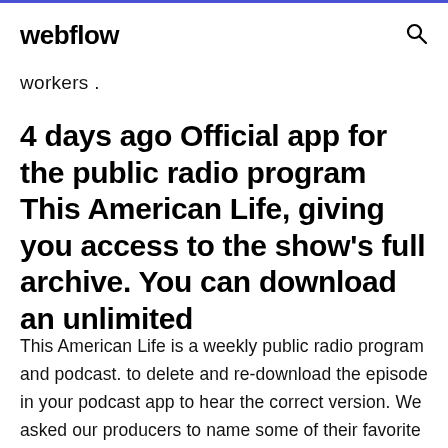webflow
workers .
4 days ago Official app for the public radio program This American Life, giving you access to the show's full archive. You can download an unlimited
This American Life is a weekly public radio program and podcast. to delete and re-download the episode in your podcast app to hear the correct version. We asked our producers to name some of their favorite stories from the archive. This  May 14, 2016 This